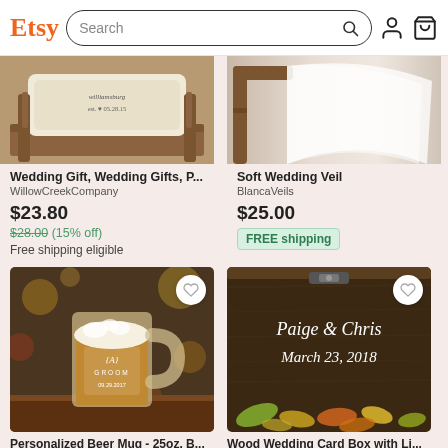Etsy | Search
[Figure (photo): Wedding pillow with cursive text and date est. 05.28.15 on wooden bench]
Wedding Gift, Wedding Gifts, P...
WillowCreekCompany
$23.80
$28.00 (15% off)
Free shipping eligible
[Figure (photo): Soft white wedding veil draped over wooden chair]
Soft Wedding Veil
BlancaVeils
$25.00
FREE shipping
[Figure (photo): Personalized glass beer mug with {A} GROOM 09.29.2017 engraving]
Personalized Beer Mug - 25oz, B...
[Figure (photo): Dark wood wedding card box with Paige & Chris March 23 2018 in white script, autumn leaves]
Wood Wedding Card Box with Li...